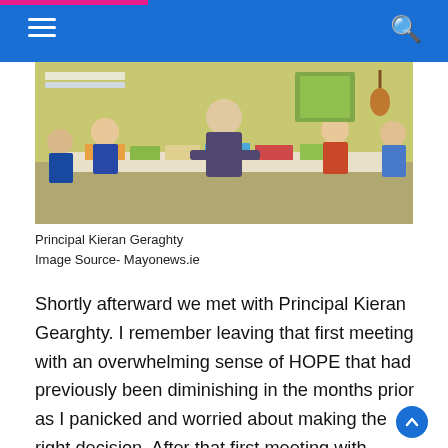Navigation header with hamburger menu and search icon
[Figure (photo): Classroom scene with children and a teacher (Principal Kieran Geraghty) gathered around a table with books and papers]
Principal Kieran Geraghty
Image Source- Mayonews.ie
Shortly afterward we met with Principal Kieran Gearghty. I remember leaving that first meeting with an overwhelming sense of HOPE that had previously been diminishing in the months prior as I panicked and worried about making the right decision. After that first meeting with Kieran, I knew Conor would be happy and by enrolling him in Knockrooskey NS my mind was at peace, as I knew we had made the right decision.